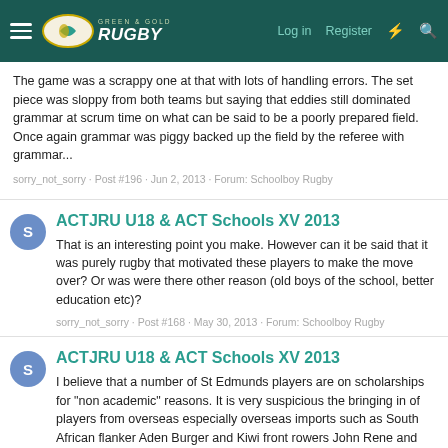Green & Gold Rugby — Log in | Register
The game was a scrappy one at that with lots of handling errors. The set piece was sloppy from both teams but saying that eddies still dominated grammar at scrum time on what can be said to be a poorly prepared field. Once again grammar was piggy backed up the field by the referee with grammar...
sorry_not_sorry · Post #196 · Jun 2, 2013 · Forum: Schoolboy Rugby
ACTJRU U18 & ACT Schools XV 2013
That is an interesting point you make. However can it be said that it was purely rugby that motivated these players to make the move over? Or was were there other reason (old boys of the school, better education etc)?
sorry_not_sorry · Post #168 · May 30, 2013 · Forum: Schoolboy Rugby
ACTJRU U18 & ACT Schools XV 2013
I believe that a number of St Edmunds players are on scholarships for "non academic" reasons. It is very suspicious the bringing in of players from overseas especially overseas imports such as South African flanker Aden Burger and Kiwi front rowers John Rene and